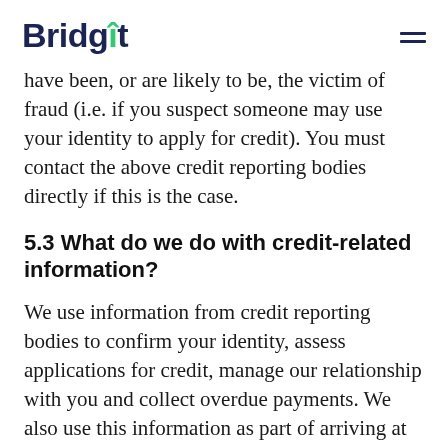Bridgit
have been, or are likely to be, the victim of fraud (i.e. if you suspect someone may use your identity to apply for credit). You must contact the above credit reporting bodies directly if this is the case.
5.3 What do we do with credit-related information?
We use information from credit reporting bodies to confirm your identity, assess applications for credit, manage our relationship with you and collect overdue payments. We also use this information as part of arriving at our own internal